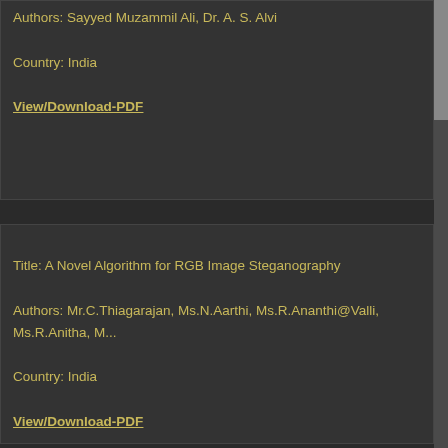Authors: Sayyed Muzammil Ali, Dr. A. S. Alvi
Country: India
View/Download-PDF
Title: A Novel Algorithm for RGB Image Steganography
Authors: Mr.C.Thiagarajan, Ms.N.Aarthi, Ms.R.Ananthi@Valli, Ms.R.Anitha, M...
Country: India
View/Download-PDF
Title: Low Quality Iris Detection in Smart Phone: A Survey
Authors: Nisha Chhabra, Richa Dutta
Country: India
View/Download-PDF